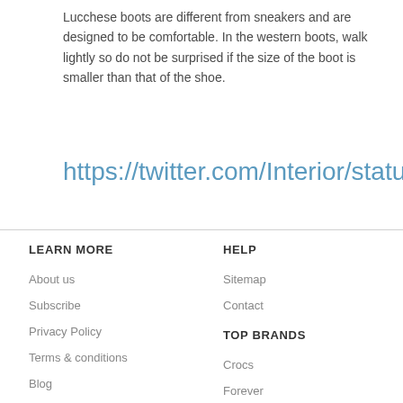Lucchese boots are different from sneakers and are designed to be comfortable. In the western boots, walk lightly so do not be surprised if the size of the boot is smaller than that of the shoe.
https://twitter.com/Interior/status/
LEARN MORE
About us
Subscribe
Privacy Policy
Terms & conditions
Blog
HELP
Sitemap
Contact
TOP BRANDS
Crocs
Forever
CLARKS